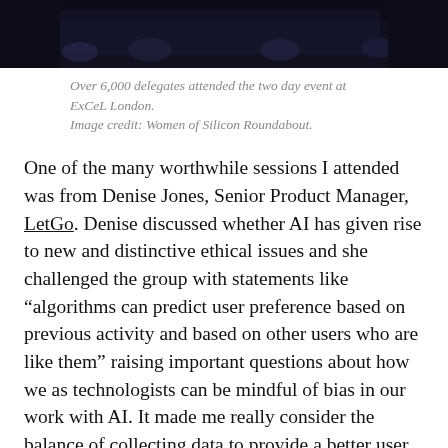[Figure (photo): Dark audience photo from a two-day event at ExCeL London, Women of Silicon Roundabout conference.]
Over 6,000 delegates attended the two day event at ExCeL London.
Image credit: Women of Silicon Roundabout.
One of the many worthwhile sessions I attended was from Denise Jones, Senior Product Manager, LetGo. Denise discussed whether AI has given rise to new and distinctive ethical issues and she challenged the group with statements like “algorithms can predict user preference based on previous activity and based on other users who are like them” raising important questions about how we as technologists can be mindful of bias in our work with AI. It made me really consider the balance of collecting data to provide a better user experience and product personalisation as good thing but collecting too much data and over-targeting